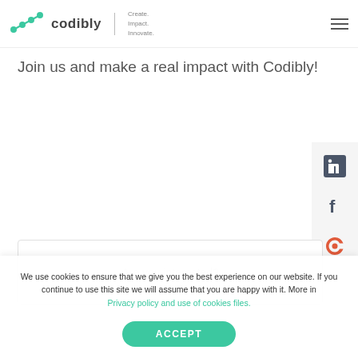codibly | Create. Impact. Innovate.
Join us and make a real impact with Codibly!
[Figure (other): Social media sidebar panel with LinkedIn, Facebook, and Clutch icons]
Are you interested?
We use cookies to ensure that we give you the best experience on our website. If you continue to use this site we will assume that you are happy with it. More in Privacy policy and use of cookies files.
ACCEPT